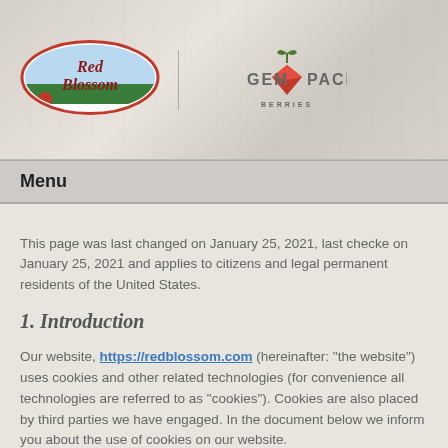[Figure (logo): Red Blossom and GEM PACK Berries logos on a wood-textured banner background]
Menu
This page was last changed on January 25, 2021, last checked on January 25, 2021 and applies to citizens and legal permanent residents of the United States.
1. Introduction
Our website, https://redblossom.com (hereinafter: "the website") uses cookies and other related technologies (for convenience all technologies are referred to as "cookies"). Cookies are also placed by third parties we have engaged. In the document below we inform you about the use of cookies on our website.